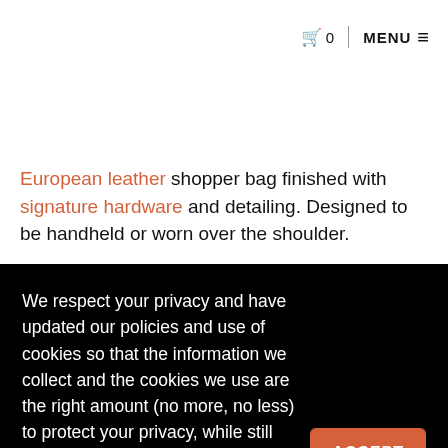🛒 0  |  MENU ≡
European leather shopper bag finished with signature hardware and detailing. Designed to be handheld or worn over the shoulder.
We respect your privacy and have updated our policies and use of cookies so that the information we collect and the cookies we use are the right amount (no more, no less) to protect your privacy, while still ensuring our site works properly. You can read our privacy policy for more information on what we do, why we do it, and what your rights are. Email us if you have any questions. Find out more.